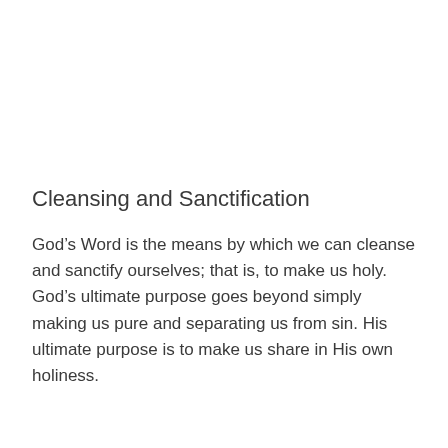Cleansing and Sanctification
God’s Word is the means by which we can cleanse and sanctify ourselves; that is, to make us holy. God’s ultimate purpose goes beyond simply making us pure and separating us from sin. His ultimate purpose is to make us share in His own holiness.